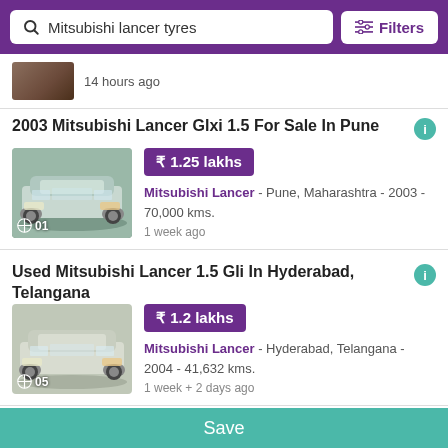Mitsubishi lancer tyres  Filters
14 hours ago
2003 Mitsubishi Lancer Glxi 1.5 For Sale In Pune
₹ 1.25 lakhs
Mitsubishi Lancer - Pune, Maharashtra - 2003 - 70,000 kms.
1 week ago
Used Mitsubishi Lancer 1.5 Gli In Hyderabad, Telangana
₹ 1.2 lakhs
Mitsubishi Lancer - Hyderabad, Telangana - 2004 - 41,632 kms.
1 week + 2 days ago
Used Mitsubishi Lancer 1.5 Glxi In Chennai, Tamil Nadu
Save